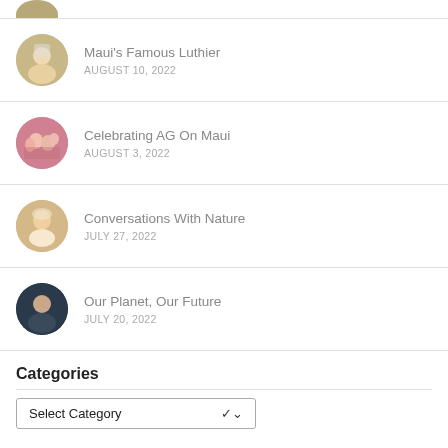Maui's Famous Luthier
AUGUST 10, 2022
Celebrating AG On Maui
AUGUST 3, 2022
Conversations With Nature
JULY 27, 2022
Our Planet, Our Future
JULY 20, 2022
Categories
Select Category
Archives